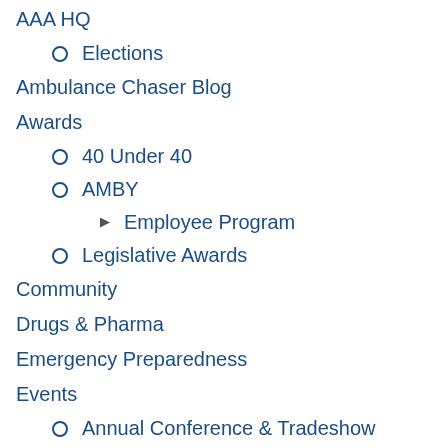AAA HQ
Elections
Ambulance Chaser Blog
Awards
40 Under 40
AMBY
Employee Program
Legislative Awards
Community
Drugs & Pharma
Emergency Preparedness
Events
Annual Conference & Tradeshow
EMS Today